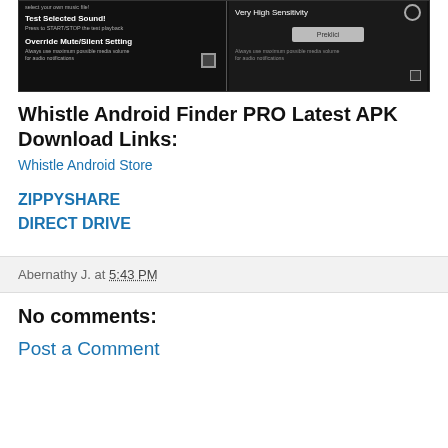[Figure (screenshot): Android app screenshot showing settings: 'Test Selected Sound! Press to START/STOP the test playback', 'Override Mute/Silent Setting Always use maximum possible media volume for audio notifications', and right panel showing 'Very High Sensitivity' with radio button and 'Preklici' button]
Whistle Android Finder PRO Latest APK Download Links:
Whistle Android Store
ZIPPYSHARE
DIRECT DRIVE
Abernathy J. at 5:43 PM
No comments:
Post a Comment